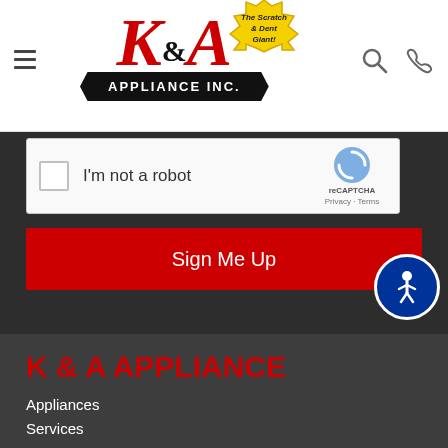[Figure (logo): K&A Appliance Inc. logo with red serif K and A letters, ampersand, 'The Scratch & Dent Giant!' yellow badge, and black ribbon banner reading APPLIANCE INC.]
[Figure (other): reCAPTCHA widget with checkbox and 'I'm not a robot' text, reCAPTCHA logo, Privacy and Terms links]
Sign Me Up
[Figure (other): Accessibility icon button - blue circle with white person/wheelchair symbol]
K & A APPLIANCE
Appliances
Services